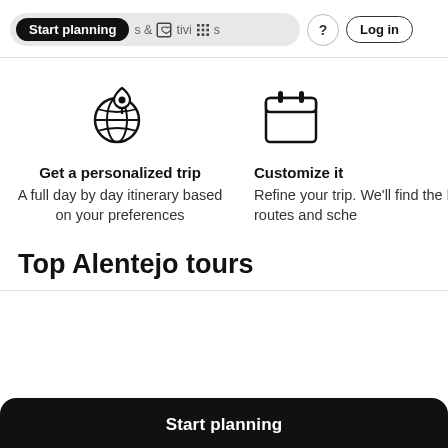Start planning   & Activities   ?   Log in
[Figure (illustration): Globe with map pin icon representing personalized trip planning]
Get a personalized trip
A full day by day itinerary based on your preferences
[Figure (illustration): Calendar icon representing trip customization]
Customize it
Refine your trip. We'll find the best routes and sche...
Top Alentejo tours
Start planning